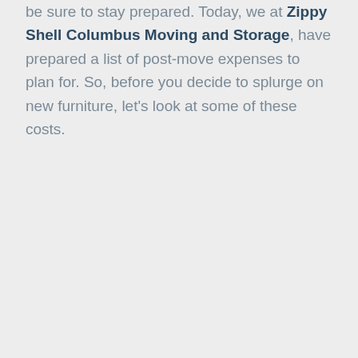be sure to stay prepared. Today, we at Zippy Shell Columbus Moving and Storage, have prepared a list of post-move expenses to plan for. So, before you decide to splurge on new furniture, let's look at some of these costs.